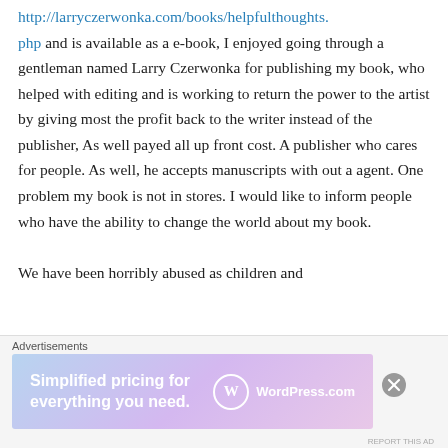http://larryczerwonka.com/books/helpfulthoughts.php and is available as a e-book, I enjoyed going through a gentleman named Larry Czerwonka for publishing my book, who helped with editing and is working to return the power to the artist by giving most the profit back to the writer instead of the publisher, As well payed all up front cost. A publisher who cares for people. As well, he accepts manuscripts with out a agent. One problem my book is not in stores. I would like to inform people who have the ability to change the world about my book.

We have been horribly abused as children and
Advertisements
[Figure (other): WordPress.com advertisement banner: 'Simplified pricing for everything you need.' with WordPress.com logo]